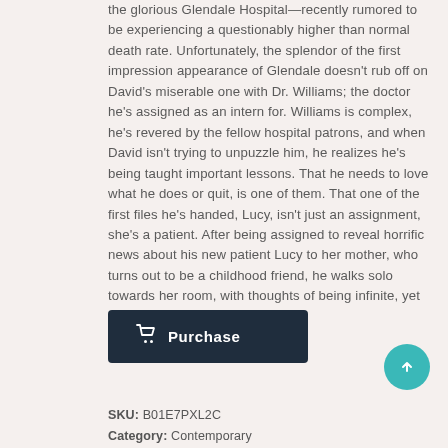the glorious Glendale Hospital—recently rumored to be experiencing a questionably higher than normal death rate. Unfortunately, the splendor of the first impression appearance of Glendale doesn't rub off on David's miserable one with Dr. Williams; the doctor he's assigned as an intern for. Williams is complex, he's revered by the fellow hospital patrons, and when David isn't trying to unpuzzle him, he realizes he's being taught important lessons. That he needs to love what he does or quit, is one of them. That one of the first files he's handed, Lucy, isn't just an assignment, she's a patient. After being assigned to reveal horrific news about his new patient Lucy to her mother, who turns out to be a childhood friend, he walks solo towards her room, with thoughts of being infinite, yet fragile.
[Figure (other): Dark navy Purchase button with shopping cart icon]
SKU: B01E7PXL2C
Category: Contemporary